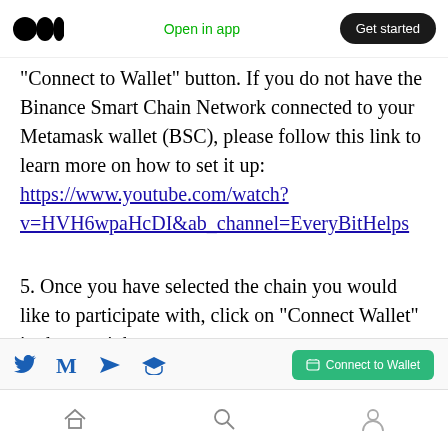Open in app | Get started
“Connect to Wallet” button. If you do not have the Binance Smart Chain Network connected to your Metamask wallet (BSC), please follow this link to learn more on how to set it up: https://www.youtube.com/watch?v=HVH6wpaHcDI&ab_channel=EveryBitHelps
5. Once you have selected the chain you would like to participate with, click on “Connect Wallet” in the top right corner.
Social share icons | Connect to Wallet button | Home | Search | Profile